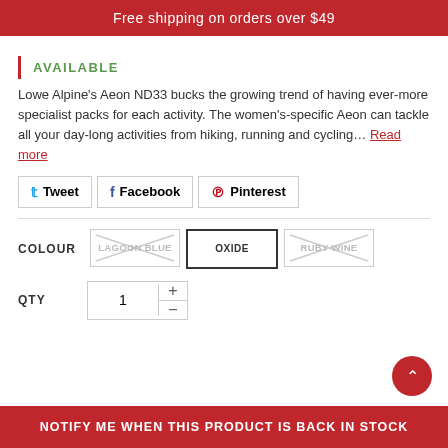Free shipping on orders over $49
AVAILABLE
Lowe Alpine's Aeon ND33 bucks the growing trend of having ever-more specialist packs for each activity. The women's-specific Aeon can tackle all your day-long activities from hiking, running and cycling… Read more
Tweet  Facebook  Pinterest
COLOUR  LAGOON BLUE  OXIDE  RUBY WINE
QTY  1
NOTIFY ME WHEN THIS PRODUCT IS BACK IN STOCK